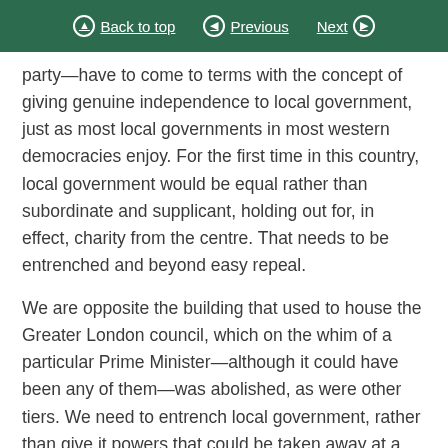Back to top | Previous | Next
party—have to come to terms with the concept of giving genuine independence to local government, just as most local governments in most western democracies enjoy. For the first time in this country, local government would be equal rather than subordinate and supplicant, holding out for, in effect, charity from the centre. That needs to be entrenched and beyond easy repeal.
We are opposite the building that used to house the Greater London council, which on the whim of a particular Prime Minister—although it could have been any of them—was abolished, as were other tiers. We need to entrench local government, rather than give it powers that could be taken away at a later date. We need to give it its own life. It is